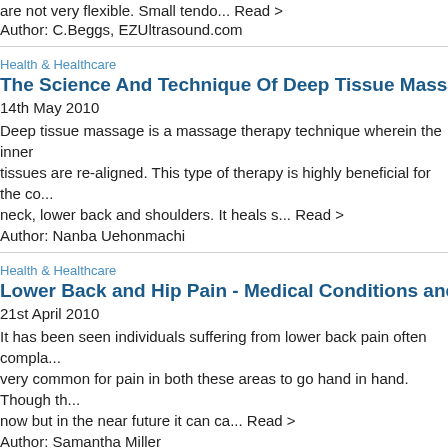are not very flexible. Small tendo... Read >
Author: C.Beggs, EZUltrasound.com
Health & Healthcare
The Science And Technique Of Deep Tissue Massage
14th May 2010
Deep tissue massage is a massage therapy technique wherein the inner tissues are re-aligned. This type of therapy is highly beneficial for the co... neck, lower back and shoulders. It heals s... Read >
Author: Nanba Uehonmachi
Health & Healthcare
Lower Back and Hip Pain - Medical Conditions and Disease
21st April 2010
It has been seen individuals suffering from lower back pain often compla... very common for pain in both these areas to go hand in hand. Though th... now but in the near future it can ca... Read >
Author: Samantha Miller
[Figure (other): Broken image icon with alt text Health-and-Fitness]
Burning Back Pain - Causes and Treatments
19th April 2010